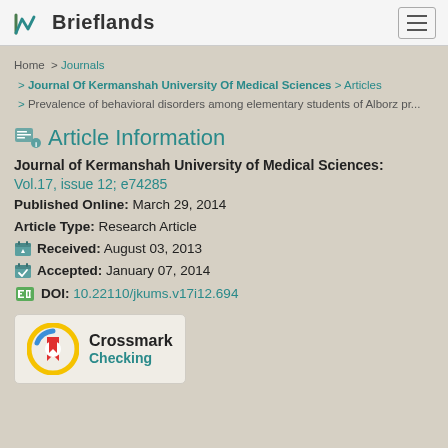Brieflands
Home > Journals > Journal Of Kermanshah University Of Medical Sciences > Articles > Prevalence of behavioral disorders among elementary students of Alborz pr...
Article Information
Journal of Kermanshah University of Medical Sciences: Vol.17, issue 12; e74285
Published Online: March 29, 2014
Article Type: Research Article
Received: August 03, 2013
Accepted: January 07, 2014
DOI: 10.22110/jkums.v17i12.694
[Figure (logo): Crossmark logo — circular badge with yellow/blue/red bookmark shapes]
Crossmark
Checking